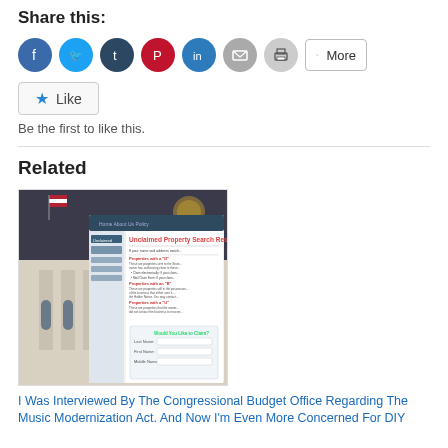Share this:
[Figure (infographic): Row of social sharing icon circles: Facebook (blue), Twitter (light blue), Tumblr (dark blue), Pinterest (red), LinkedIn (blue), Email (grey), Print (grey), and a More button]
[Figure (infographic): Like button with blue star icon and text 'Like']
Be the first to like this.
Related
[Figure (screenshot): Screenshot of a government website showing 'Unclaimed Property Search Results' page with California state seal and US flag in background]
I Was Interviewed By The Congressional Budget Office Regarding The Music Modernization Act. And Now I'm Even More Concerned For DIY